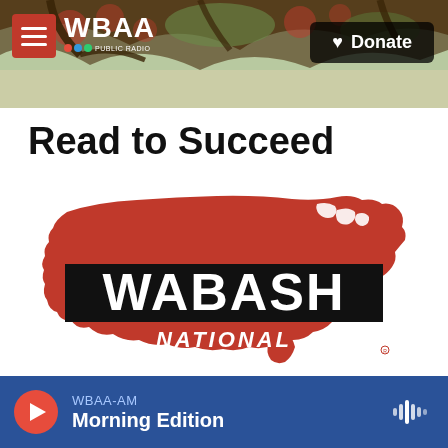[Figure (screenshot): WBAA website header with nature/tree background photo, hamburger menu icon in red, WBAA NPR logo in white, and black Donate button with heart icon]
Read to Succeed
[Figure (logo): Wabash National logo — red silhouette map of the United States with black rectangular band across center reading WABASH in large white bold text and NATIONAL in white italic text below]
WBAA-AM Morning Edition